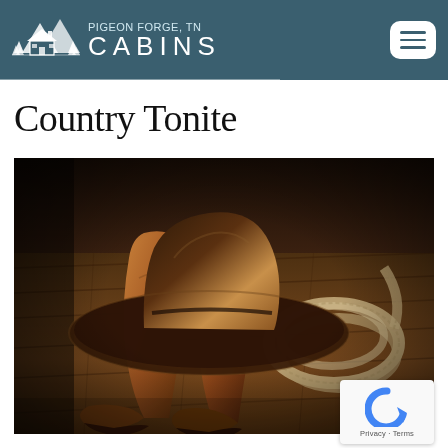PIGEON FORGE, TN CABINS
Country Tonite
[Figure (photo): Cowboy boots and a cowboy hat resting on a wooden floor with a coiled rope in the background — a western-themed still life]
[Figure (logo): Google reCAPTCHA badge with Privacy and Terms links]